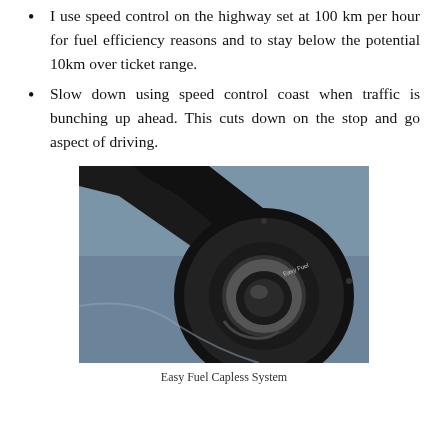I use speed control on the highway set at 100 km per hour for fuel efficiency reasons and to stay below the potential 10km over ticket range.
Slow down using speed control coast when traffic is bunching up ahead. This cuts down on the stop and go aspect of driving.
[Figure (photo): Close-up photograph of a car's Easy Fuel Capless fuel filler system, showing a black circular fuel door mechanism with 'Easy Fuel' text visible on the cap, set against a blue/grey car body.]
Easy Fuel Capless System